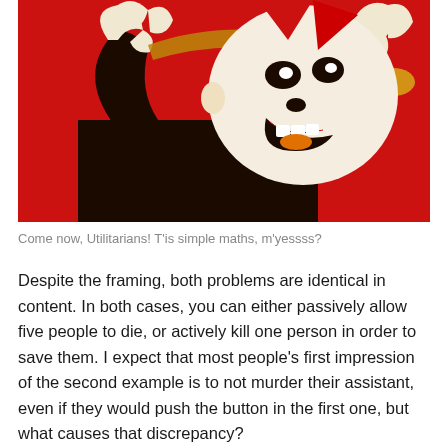[Figure (illustration): Stylized cartoon illustration on a red background showing a person in a dark outfit playing a brass instrument (trumpet/bugle), with exaggerated features and a grinning expression. The figure is depicted in a bold graphic style with limited colors: red, dark brown/black, white, and orange.]
Come now, Utilitarians! T'is simple maths, m'yessss?
Despite the framing, both problems are identical in content. In both cases, you can either passively allow five people to die, or actively kill one person in order to save them. I expect that most people's first impression of the second example is to not murder their assistant, even if they would push the button in the first one, but what causes that discrepancy?